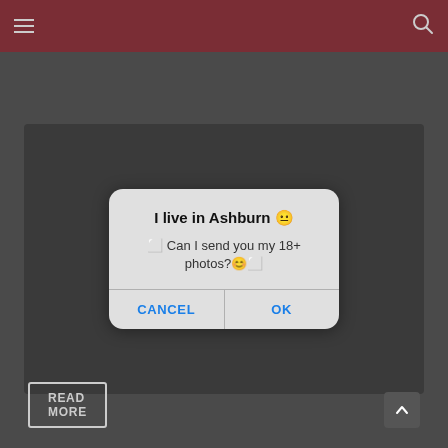Navigation bar with menu and search icons
[Figure (screenshot): Video thumbnail area with overlaid mobile dialog popup reading 'I live in Ashburn' with message 'Can I send you my 18+ photos?' and CANCEL / OK buttons]
37.7k Views   PORN STARS
Kay J amazes us with her beautiful pussy on top of a blue sofa
about an hour ago
READ MORE